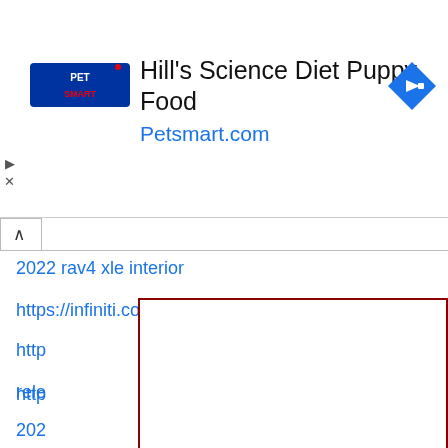[Figure (screenshot): PetSmart advertisement banner showing Hill's Science Diet Puppy Food with Petsmart.com URL and navigation arrow icon]
2022 rav4 xle interior
https://infiniti.com.com/2022-infiniti-qx60-review/
http...
rele...
202...
Niss...
tucs...
chev...
new...